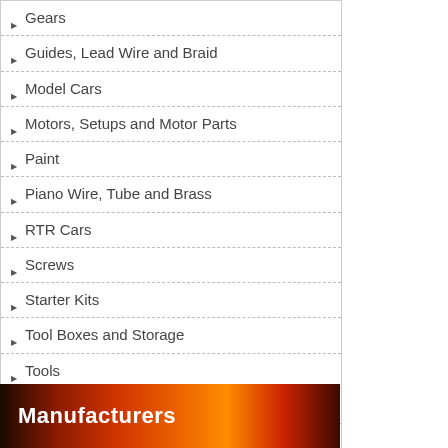Gears
Guides, Lead Wire and Braid
Model Cars
Motors, Setups and Motor Parts
Paint
Piano Wire, Tube and Brass
RTR Cars
Screws
Starter Kits
Tool Boxes and Storage
Tools
Wheels and Tires
New Products ...
Featured Products ...
All Products ...
[Figure (illustration): Manufacturers banner with fire/flame background and bold white text reading 'Manufacturers']